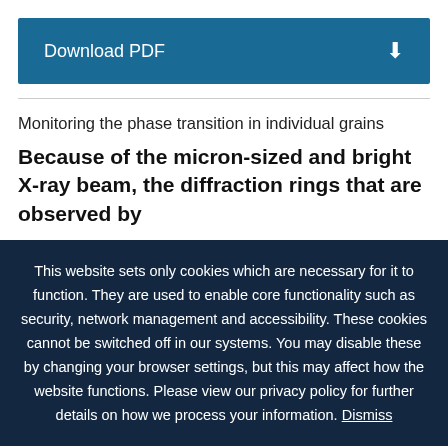[Figure (other): Download PDF button with download icon on dark blue background]
Monitoring the phase transition in individual grains
Because of the micron-sized and bright X-ray beam, the diffraction rings that are observed by
This website sets only cookies which are necessary for it to function. They are used to enable core functionality such as security, network management and accessibility. These cookies cannot be switched off in our systems. You may disable these by changing your browser settings, but this may affect how the website functions. Please view our privacy policy for further details on how we process your information. Dismiss